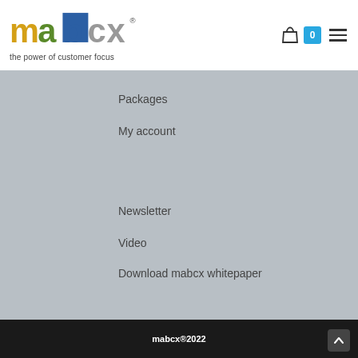mabcx — the power of customer focus
Packages
My account
Newsletter
Video
Download mabcx whitepaper
mabcx®2022